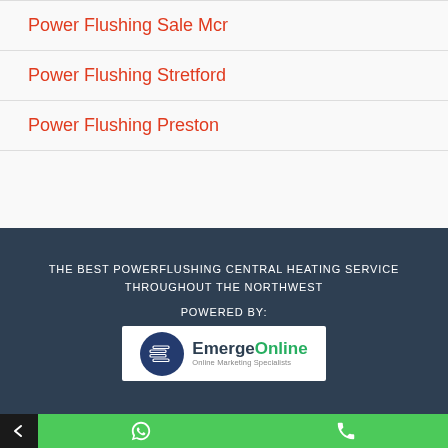Power Flushing Sale Mcr
Power Flushing Stretford
Power Flushing Preston
THE BEST POWERFLUSHING CENTRAL HEATING SERVICE THROUGHOUT THE NORTHWEST
POWERED BY:
[Figure (logo): EmergeOnline logo — circular dark blue icon with layered rectangles on the left, text 'EmergeOnline' with 'Online Marketing Specialists' below, on a white background]
← | WhatsApp icon | Phone icon